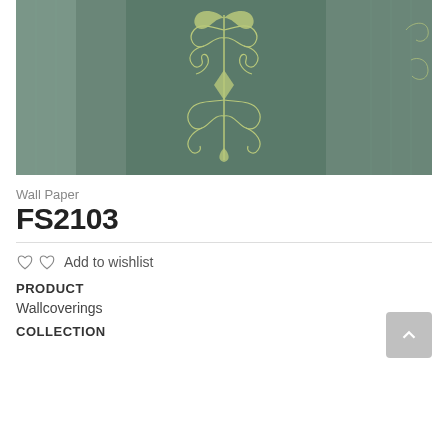[Figure (photo): Close-up photo of a teal/sage green damask wallpaper with ornate golden floral scroll pattern on striped background]
Wall Paper
FS2103
Add to wishlist
PRODUCT
Wallcoverings
COLLECTION